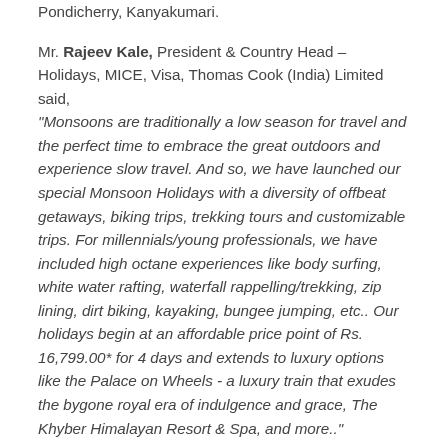Pondicherry, Kanyakumari.
Mr. Rajeev Kale, President & Country Head – Holidays, MICE, Visa, Thomas Cook (India) Limited said, "Monsoons are traditionally a low season for travel and the perfect time to embrace the great outdoors and experience slow travel. And so, we have launched our special Monsoon Holidays with a diversity of offbeat getaways, biking trips, trekking tours and customizable trips. For millennials/young professionals, we have included high octane experiences like body surfing, white water rafting, waterfall rappelling/trekking, zip lining, dirt biking, kayaking, bungee jumping, etc.. Our holidays begin at an affordable price point of Rs. 16,799.00* for 4 days and extends to luxury options like the Palace on Wheels - a luxury train that exudes the bygone royal era of indulgence and grace, The Khyber Himalayan Resort & Spa, and more.."